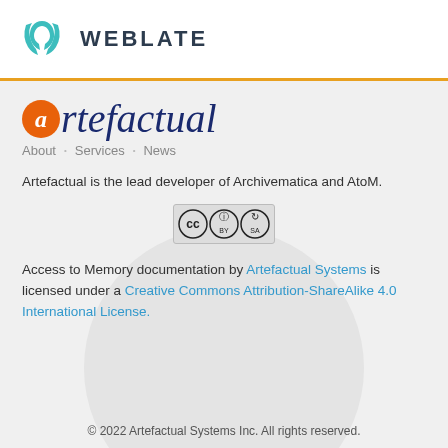[Figure (logo): Weblate logo with teal swirl icon and bold WEBLATE text]
[Figure (logo): Artefactual logo with orange circle 'a' and dark blue italic text 'rtefactual']
About · Services · News
Artefactual is the lead developer of Archivematica and AtoM.
[Figure (other): Creative Commons BY-SA license badge]
Access to Memory documentation by Artefactual Systems is licensed under a Creative Commons Attribution-ShareAlike 4.0 International License.
© 2022 Artefactual Systems Inc. All rights reserved.